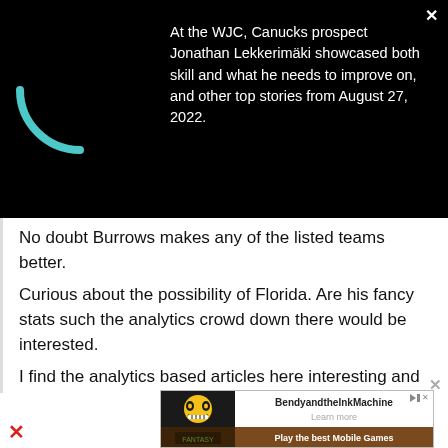[Figure (screenshot): Black top bar with a teal loading spinner arc on the left and white text on the right, with a close X button in the top-right corner]
At the WJC, Canucks prospect Jonathan Lekkerimäki showcased both skill and what he needs to improve on, and other top stories from August 27, 2022.
No doubt Burrows makes any of the listed teams better.
Curious about the possibility of Florida. Are his fancy stats such the analytics crowd down there would be interested.
I find the analytics based articles here interesting and can certainly see the value in considering them in decisions. With the preoccupation in Florida it's easy to imagine that crew arguing about debt to equity ratios with the sheriff a
[Figure (screenshot): Advertisement for BendyandtheInkMachine mobile game with logo, Learn more button, and Play the best Mobile Games banner]